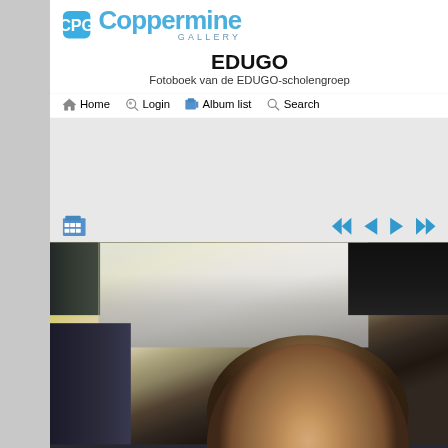[Figure (logo): Coppermine Gallery logo with CPG icon and text]
EDUGO
Fotoboek van de EDUGO-scholengroep
Home  Login  Album list  Search
[Figure (photo): A young person wearing glasses sitting in what appears to be a bus or train seat, looking at camera]